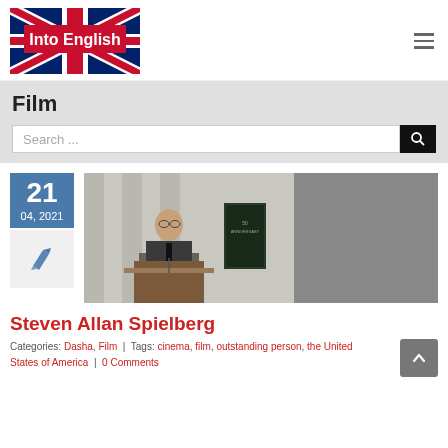[Figure (logo): Into English website logo with Union Jack flag background and red banner with white text 'Into English']
Film
Search ...
[Figure (photo): Man in suit speaking at a podium with a movie poster visible in the background]
Steven Allan Spielberg
Categories: Dasha, Film | Tags: cinema, film, outstanding person, the United States of America | 0 Comments